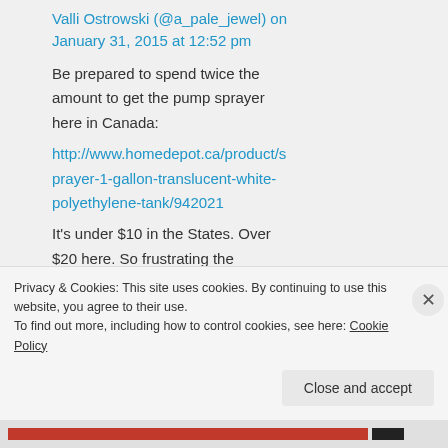Valli Ostrowski (@a_pale_jewel) on January 31, 2015 at 12:52 pm
Be prepared to spend twice the amount to get the pump sprayer here in Canada:
http://www.homedepot.ca/product/sprayer-1-gallon-translucent-white-polyethylene-tank/942021
It's under $10 in the States. Over $20 here. So frustrating the
Privacy & Cookies: This site uses cookies. By continuing to use this website, you agree to their use.
To find out more, including how to control cookies, see here: Cookie Policy